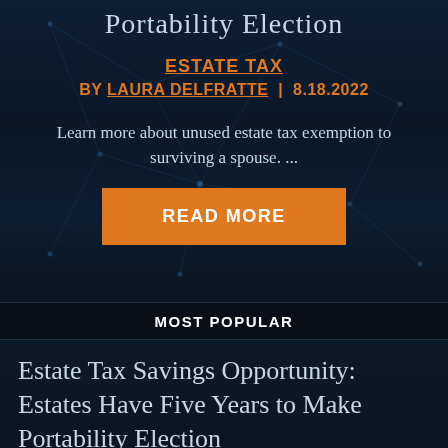Portability Election
ESTATE TAX
BY LAURA DELFRATTE | 8.18.2022
Learn more about unused estate tax exemption to surviving a spouse. ...
READ MORE
MOST POPULAR
Estate Tax Savings Opportunity: Estates Have Five Years to Make Portability Election